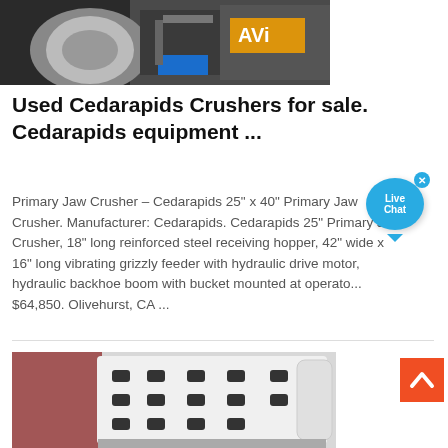[Figure (photo): Top partial view of a Cedarapids crusher machine in a workshop setting with yellow/orange branding visible]
Used Cedarapids Crushers for sale. Cedarapids equipment ...
Primary Jaw Crusher – Cedarapids 25" x 40" Primary Jaw Crusher. Manufacturer: Cedarapids. Cedarapids 25" Primary Jaw Crusher, 18" long reinforced steel receiving hopper, 42" wide x 16" long vibrating grizzly feeder with hydraulic drive motor, hydraulic backhoe boom with bucket mounted at operato... $64,850. Olivehurst, CA ...
[Figure (photo): Bottom partial view of a white industrial crusher or equipment panel with black bolt mounting points/hardware visible]